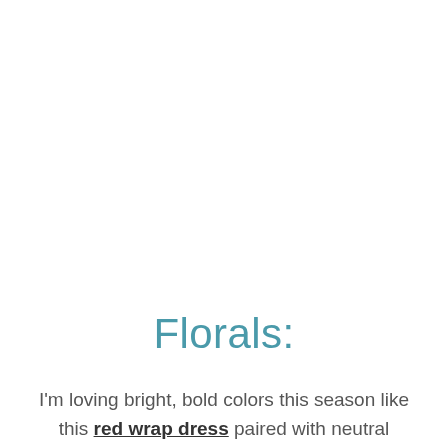Florals:
I'm loving bright, bold colors this season like this red wrap dress paired with neutral